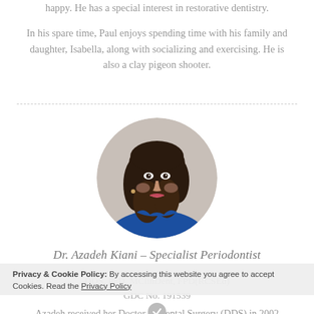happy. He has a special interest in restorative dentistry.

In his spare time, Paul enjoys spending time with his family and daughter, Isabella, along with socializing and exercising. He is also a clay pigeon shooter.
[Figure (photo): Circular portrait photo of Dr. Azadeh Kiani, a woman with long dark hair wearing a blue top, photographed against a light background.]
Dr. Azadeh Kiani – Specialist Periodontist
Privacy & Cookie Policy: By accessing this website you agree to accept Cookies. Read the Privacy Policy
DDS, PhD, MClinDent, FPD(RCSEd)
GDC No. 191539
Azadeh received her Doctor of Dental Surgery (DDS) in 2002